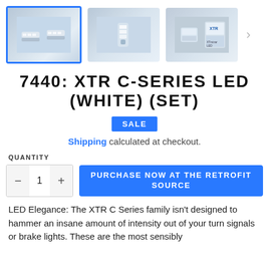[Figure (photo): Three thumbnail images of LED bulbs (7440 XTR C-Series LED White Set), with the first selected (blue border), second showing a single bulb, third showing product packaging. A right arrow navigation button is visible.]
7440: XTR C-SERIES LED (WHITE) (SET)
SALE
Shipping calculated at checkout.
QUANTITY
PURCHASE NOW AT THE RETROFIT SOURCE
LED Elegance: The XTR C Series family isn't designed to hammer an insane amount of intensity out of your turn signals or brake lights. These are the most sensibly